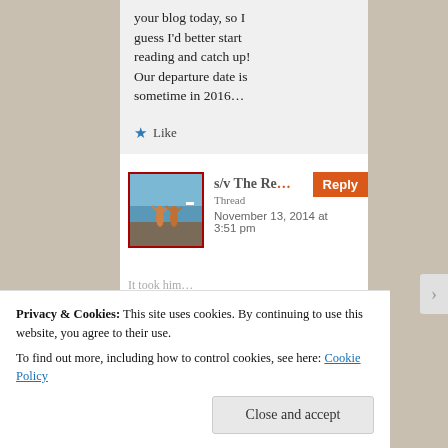your blog today, so I guess I'd better start reading and catch up! Our departure date is sometime in 2016…
Like
[Figure (photo): Small avatar photo showing two people on rocky beach with arms raised, ocean and sky in background]
s/v The Re… Thread — November 13, 2014 at 3:51 pm
Reply
Privacy & Cookies: This site uses cookies. By continuing to use this website, you agree to their use. To find out more, including how to control cookies, see here: Cookie Policy
Close and accept